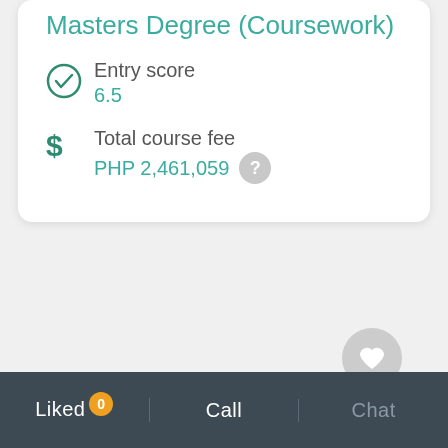Masters Degree (Coursework)
Entry score
6.5
Total course fee
PHP 2,461,059
Liked 0 | Call | Chat